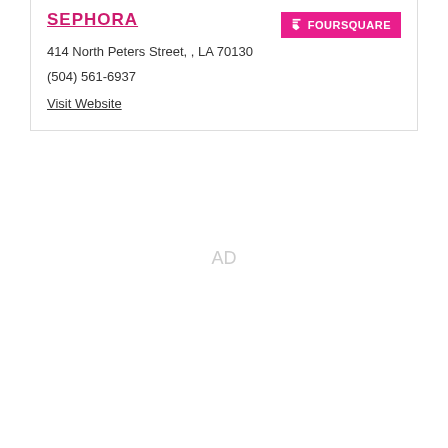SEPHORA
414 North Peters Street, , LA 70130
(504) 561-6937
Visit Website
[Figure (logo): Foursquare button logo with pink background and white text reading FOURSQUARE with a Foursquare icon]
AD